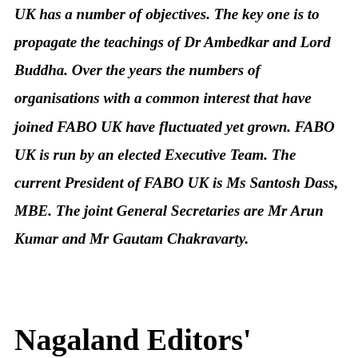UK has a number of objectives. The key one is to propagate the teachings of Dr Ambedkar and Lord Buddha. Over the years the numbers of organisations with a common interest that have joined FABO UK have fluctuated yet grown. FABO UK is run by an elected Executive Team. The current President of FABO UK is Ms Santosh Dass, MBE. The joint General Secretaries are Mr Arun Kumar and Mr Gautam Chakravarty.
Nagaland Editors'